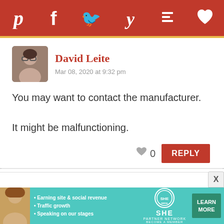[Figure (infographic): Social share bar with icons for Pinterest, Facebook, Twitter, Yummly, Flipboard, and a heart/save icon, all white on dark red background]
David Leite
Mar 08, 2020 at 9:32 pm
You may want to contact the manufacturer. It might be malfunctioning.
0 REPLY
[Figure (infographic): Advertisement banner for SHE Media Partner Network with bullet points: Earning site & social revenue, Traffic growth, Speaking on our stages. Features a Learn More button.]